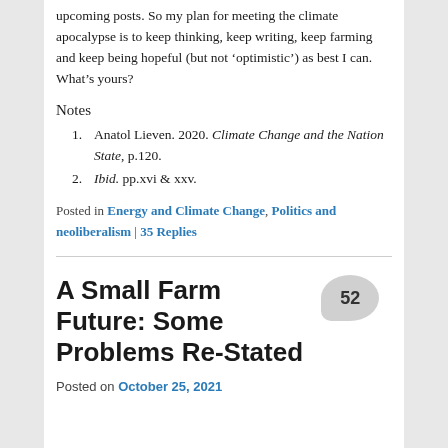upcoming posts. So my plan for meeting the climate apocalypse is to keep thinking, keep writing, keep farming and keep being hopeful (but not ‘optimistic’) as best I can. What’s yours?
Notes
Anatol Lieven. 2020. Climate Change and the Nation State, p.120.
Ibid. pp.xvi & xxv.
Posted in Energy and Climate Change, Politics and neoliberalism | 35 Replies
A Small Farm Future: Some Problems Re-Stated
Posted on October 25, 2021